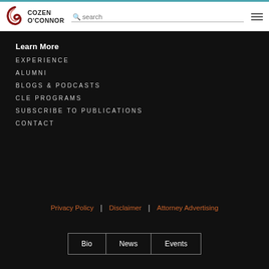[Figure (logo): Cozen O'Connor law firm logo with red swoosh icon and bold text]
Learn More
EXPERIENCE
ALUMNI
BLOGS & PODCASTS
CLE PROGRAMS
SUBSCRIBE TO PUBLICATIONS
CONTACT
Privacy Policy | Disclaimer | Attorney Advertising
Bio | News | Events